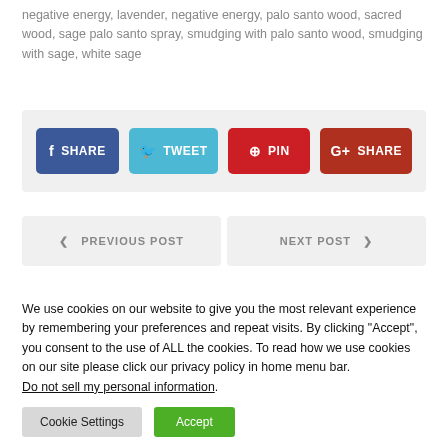negative energy, lavender, negative energy, palo santo wood, sacred wood, sage palo santo spray, smudging with palo santo wood, smudging with sage, white sage
[Figure (screenshot): Social share buttons: Facebook SHARE (dark blue), Twitter TWEET (light blue), Pinterest PIN (red), Google+ SHARE (dark red)]
[Figure (screenshot): Navigation buttons: PREVIOUS POST (left arrow) and NEXT POST (right arrow) on a light grey background]
We use cookies on our website to give you the most relevant experience by remembering your preferences and repeat visits. By clicking “Accept”, you consent to the use of ALL the cookies. To read how we use cookies on our site please click our privacy policy in home menu bar.
Do not sell my personal information.
[Figure (screenshot): Cookie consent buttons: Cookie Settings (grey) and Accept (green)]